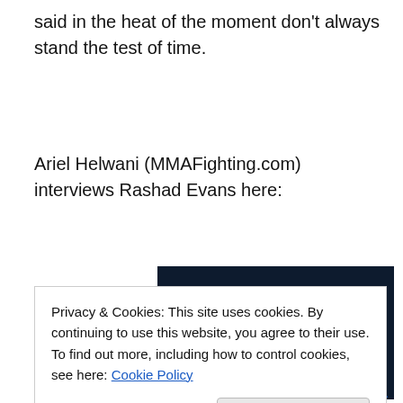said in the heat of the moment don't always stand the test of time.
Ariel Helwani (MMAFighting.com) interviews Rashad Evans here:
[Figure (illustration): Dark navy background advertisement image with white text reading 'Opinions. We all have them!' and a partial pink button and circular element at the bottom.]
Privacy & Cookies: This site uses cookies. By continuing to use this website, you agree to their use.
To find out more, including how to control cookies, see here: Cookie Policy
Close and accept
http://video.aol.com/aolvideo/aol-sports/rashad-evans-ufc-